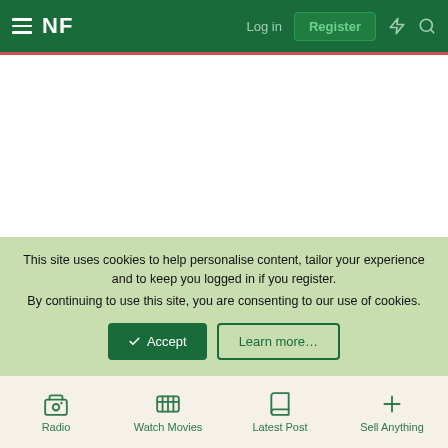NF  Log in  Register
This site uses cookies to help personalise content, tailor your experience and to keep you logged in if you register. By continuing to use this site, you are consenting to our use of cookies.
Radio  Watch Movies  Latest Post  Sell Anything